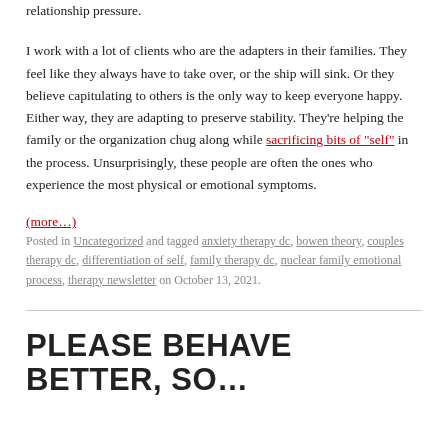relationship pressure.
I work with a lot of clients who are the adapters in their families. They feel like they always have to take over, or the ship will sink. Or they believe capitulating to others is the only way to keep everyone happy. Either way, they are adapting to preserve stability. They're helping the family or the organization chug along while sacrificing bits of "self" in the process. Unsurprisingly, these people are often the ones who experience the most physical or emotional symptoms.
(more…)
Posted in Uncategorized and tagged anxiety therapy dc, bowen theory, couples therapy dc, differentiation of self, family therapy dc, nuclear family emotional process, therapy newsletter on October 13, 2021.
PLEASE BEHAVE BETTER, SO…